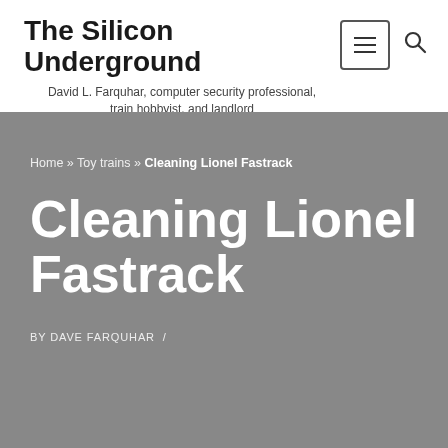The Silicon Underground
David L. Farquhar, computer security professional, train hobbyist, and landlord
Home » Toy trains » Cleaning Lionel Fastrack
Cleaning Lionel Fastrack
BY DAVE FARQUHAR  /